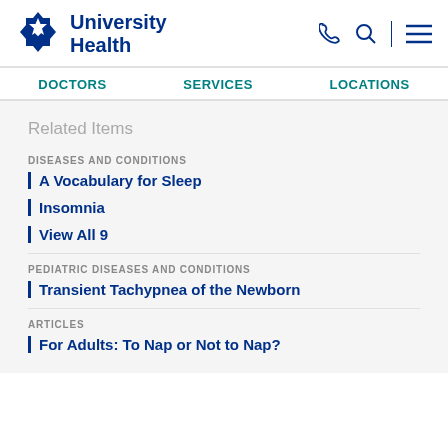[Figure (logo): University Health logo with star/snowflake icon in dark navy blue and bold text 'University Health']
DOCTORS  SERVICES  LOCATIONS
Related Items
DISEASES AND CONDITIONS
A Vocabulary for Sleep
Insomnia
View All 9
PEDIATRIC DISEASES AND CONDITIONS
Transient Tachypnea of the Newborn
ARTICLES
For Adults: To Nap or Not to Nap?